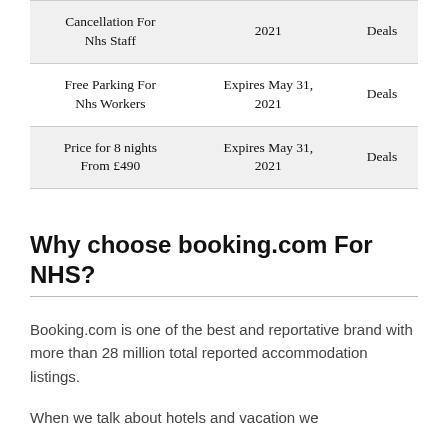|  |  |  |
| --- | --- | --- |
| Cancellation For Nhs Staff | 2021 | Deals |
| Free Parking For Nhs Workers | Expires May 31, 2021 | Deals |
| Price for 8 nights From £490 | Expires May 31, 2021 | Deals |
Why choose booking.com For NHS?
Booking.com is one of the best and reportative brand with more than 28 million total reported accommodation listings.
When we talk about hotels and vacation we